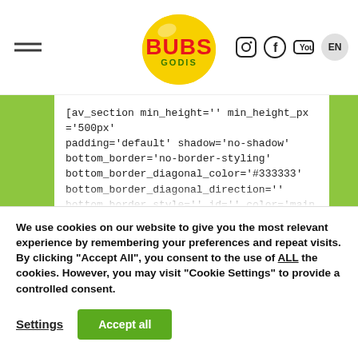[Figure (logo): Bubs Godis logo - yellow circle with red BUBS text and green GODIS text below, with navigation icons (Instagram, Facebook, YouTube) and EN language selector, and hamburger menu on left]
[av_section min_height='' min_height_px='500px' padding='default' shadow='no-shadow' bottom_border='no-border-styling' bottom_border_diagonal_color='#333333' bottom_border_diagonal_direction='' bottom_border_style='' id='' color='main_color' custom_bg='' src='' attachment='' attachment_size='' attach='scroll' position='top left' repeat='repeat' video='' video_ratio='16:9' overlay_opacity='0.5' overlay_color='' overlay_pattern='' overlay_custom_pattern=''
We use cookies on our website to give you the most relevant experience by remembering your preferences and repeat visits. By clicking "Accept All", you consent to the use of ALL the cookies. However, you may visit "Cookie Settings" to provide a controlled consent.
Settings
Accept all